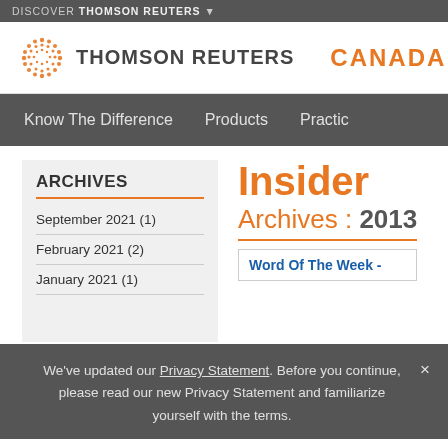DISCOVER THOMSON REUTERS ▼
[Figure (logo): Thomson Reuters Canada logo with orange dot-circle icon, wordmark THOMSON REUTERS, vertical divider, and CANADA in orange]
Know The Difference   Products   Practi…
ARCHIVES
September 2021 (1)
February 2021 (2)
January 2021 (1)
Insider
Archives : 2013
Word Of The Week -
We've updated our Privacy Statement. Before you continue, please read our new Privacy Statement and familiarize yourself with the terms.